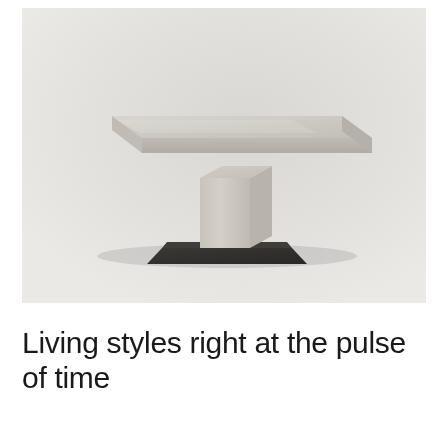[Figure (photo): A modern minimalist dining table with a wide light beige/off-white rectangular top surface, a single central rectangular pedestal column in matching light tone, and a dark charcoal/black flat rectangular base plate, photographed against a light grey gradient background.]
Living styles right at the pulse of time